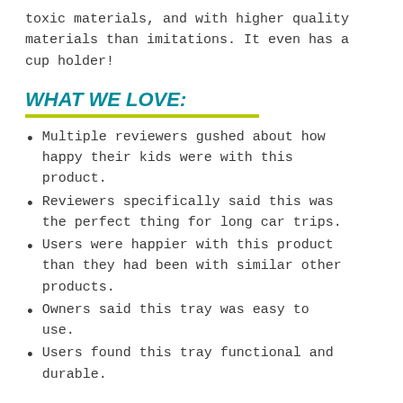toxic materials, and with higher quality materials than imitations. It even has a cup holder!
WHAT WE LOVE:
Multiple reviewers gushed about how happy their kids were with this product.
Reviewers specifically said this was the perfect thing for long car trips.
Users were happier with this product than they had been with similar other products.
Owners said this tray was easy to use.
Users found this tray functional and durable.